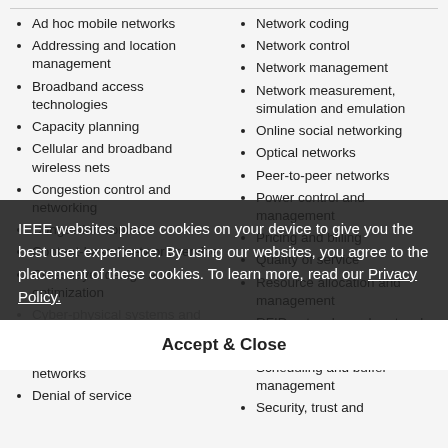Ad hoc mobile networks
Addressing and location management
Broadband access technologies
Capacity planning
Cellular and broadband wireless nets
Congestion control and networking
Congestion control
Content-based network service
Cross-layer design and optimization
Cyber-physical systems and networks
Data center and cloud networks
Denial of service
Network coding
Network control
Network management
Network measurement, simulation and emulation
Online social networking
Optical networks
Peer-to-peer networks
Power control and management
Pricing and billing
Quality of service
Resource allocation and management
RFID networks and protocols
Routing protocols
Scheduling and buffer management
Security, trust and
IEEE websites place cookies on your device to give you the best user experience. By using our websites, you agree to the placement of these cookies. To learn more, read our Privacy Policy.
Accept & Close